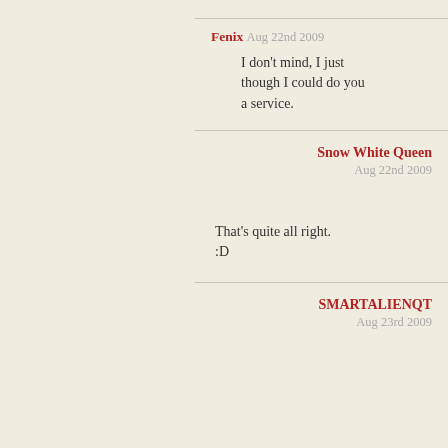Fenix Aug 22nd 2009
I don't mind, I just though I could do you a service.
Snow White Queen
Aug 22nd 2009
That's quite all right. :D
SMARTALIENQT
Aug 23rd 2009